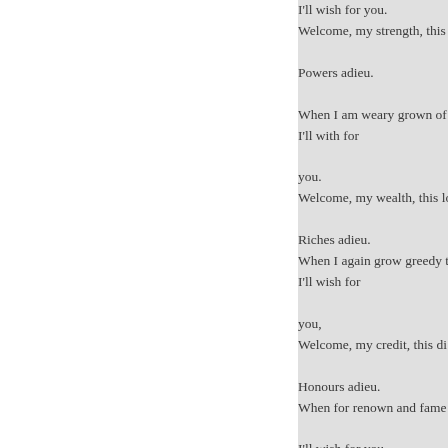I'll wish for you.
Welcome, my strength, this

Powers adieu.

When I am weary grown of
I'll with for

you.
Welcome, my wealth, this lo

Riches adieu.
When I again grow greedy t
I'll wish for

you,
Welcome, my credit, this di

Honours adieu.
When for renown and fame

I'll wish for you.
Welcome content, this forro

Pleasures adieu.
When I desire such griefs as